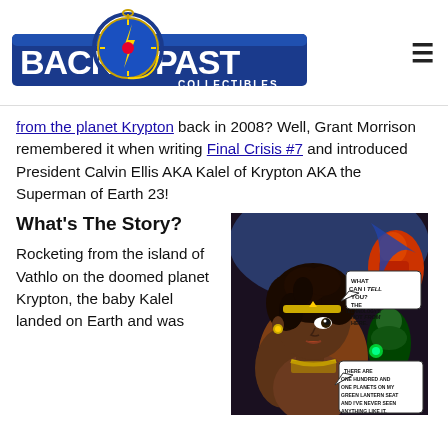[Figure (logo): Back to the Past Collectibles logo with compass/anchor circular emblem and blue banner with white text]
from the planet Krypton back in 2008? Well, Grant Morrison remembered it when writing Final Crisis #7 and introduced President Calvin Ellis AKA Kalel of Krypton AKA the Superman of Earth 23!
What's The Story?
Rocketing from the island of Vathlo on the doomed planet Krypton, the baby Kalel landed on Earth and was
[Figure (illustration): Comic book panel showing a Black female superhero in the foreground and a Green Lantern character in the background with speech bubbles reading 'WHAT CAN I TELL YOU? THE TECHNOLOGY'S NOT FROM HERE.' and 'THERE ARE ONE HUNDRED AND ONE PLANETS ON MY GREEN LANTERN SEAT AND I'VE NEVER SEEN ANYTHING LIKE IT.']